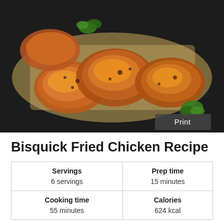[Figure (photo): Overhead close-up photo of golden-brown fried chicken pieces on parchment paper with green herb garnish on a dark background. A grey 'Print' button is overlaid at the bottom right corner.]
Bisquick Fried Chicken Recipe
| Servings | Prep time | Cooking time | Calories |
| --- | --- | --- | --- |
| 6 servings | 15 minutes | 55 minutes | 624 kcal |